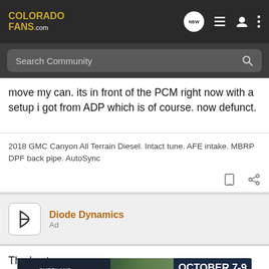COLORADO FANS .com — navigation bar with NEW chat, list, user, and menu icons; Search Community input
move my can. its in front of the PCM right now with a setup i got from ADP which is of course. now defunct.
2018 GMC Canyon All Terrain Diesel. Intact tune. AFE intake. MBRP DPF back pipe. AutoSync
[Figure (screenshot): Diode Dynamics advertisement section with logo, name, and Ad label]
The best
Introducing... ED Pod is now s...
[Figure (infographic): Overland Expo East 2022 banner ad — October 7-9, Arrington, VA — Plan Your Adventure]